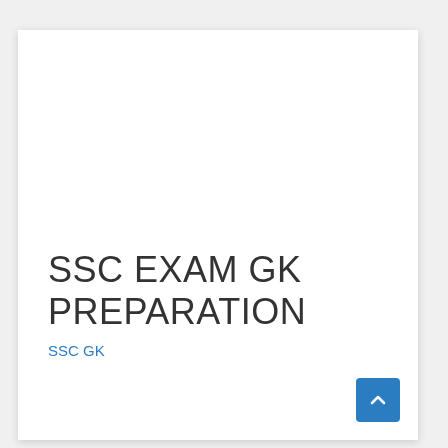SSC EXAM GK PREPARATION
SSC GK